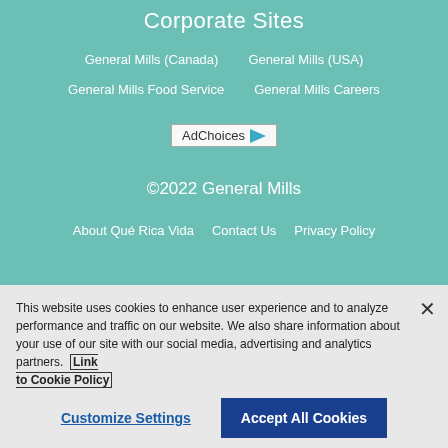Corporate Sites
General Mills (Canada)
General Mills (USA)
General Mills Food Service
General Mills Careers
[Figure (logo): AdChoices logo with icon]
©2022 General Mills
About Qué Rica Vida
Contact Us
Privacy Policy
This website uses cookies to enhance user experience and to analyze performance and traffic on our website. We also share information about your use of our site with our social media, advertising and analytics partners. Link to Cookie Policy
Customize Settings
Accept All Cookies